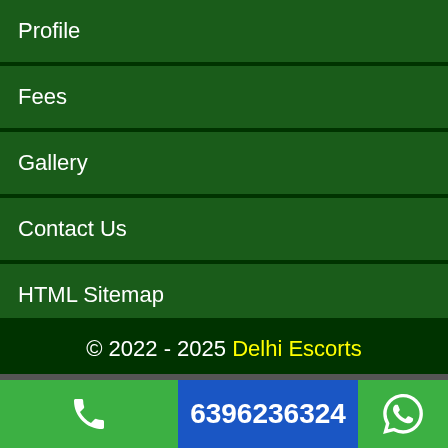Profile
Fees
Gallery
Contact Us
HTML Sitemap
XML Sitemap
© 2022 - 2025 Delhi Escorts
6396236324